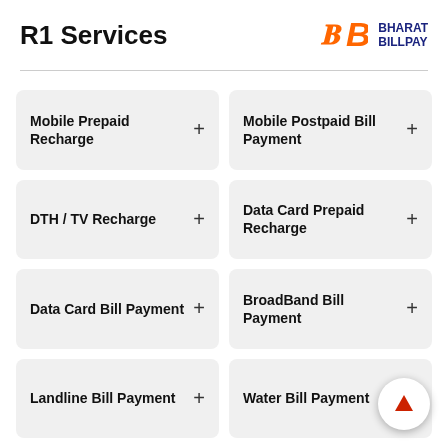R1 Services
[Figure (logo): Bharat BillPay logo with orange stylized B and blue text BHARAT BILLPAY]
Mobile Prepaid Recharge +
Mobile Postpaid Bill Payment +
DTH / TV Recharge +
Data Card Prepaid Recharge +
Data Card Bill Payment +
BroadBand Bill Payment +
Landline Bill Payment +
Water Bill Payment +